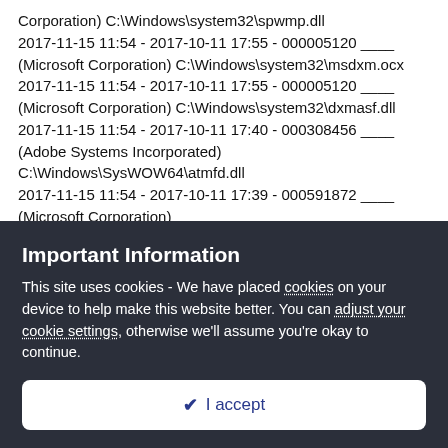Corporation) C:\Windows\system32\spwmp.dll
2017-11-15 11:54 - 2017-10-11 17:55 - 000005120 ____ (Microsoft Corporation) C:\Windows\system32\msdxm.ocx
2017-11-15 11:54 - 2017-10-11 17:55 - 000005120 ____ (Microsoft Corporation) C:\Windows\system32\dxmasf.dll
2017-11-15 11:54 - 2017-10-11 17:40 - 000308456 ____ (Adobe Systems Incorporated) C:\Windows\SysWOW64\atmfd.dll
2017-11-15 11:54 - 2017-10-11 17:39 - 000591872 ____ (Microsoft Corporation) C:\Windows\system32\SearchIndexer.exe
2017-11-15 11:54 - 2017-10-11 17:38 - 000249856 ____ (Microsoft Corporation) C:\Windows\system32\SearchProtocolHost.exe
2017-11-15 11:54 - 2017-10-11 17:38 - 000113664 ____ (Microsoft Corporation) C:\Windows\system32\SearchFilterHost.exe
Important Information
This site uses cookies - We have placed cookies on your device to help make this website better. You can adjust your cookie settings, otherwise we'll assume you're okay to continue.